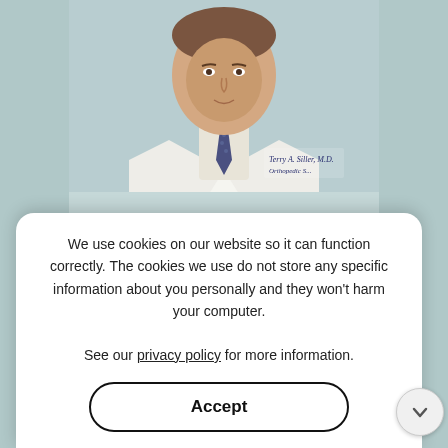[Figure (photo): Doctor Terry A. Siller M.D. in white lab coat with navy tie and name badge, headshot/torso photo]
TERRY A. SILLER, M.D.
Board Certified Orthopedic Surgeon
View Full Profile
PATIENT RESOURCES
We use cookies on our website so it can function correctly. The cookies we use do not store any specific information about you personally and they won't harm your computer.

See our privacy policy for more information.
Accept